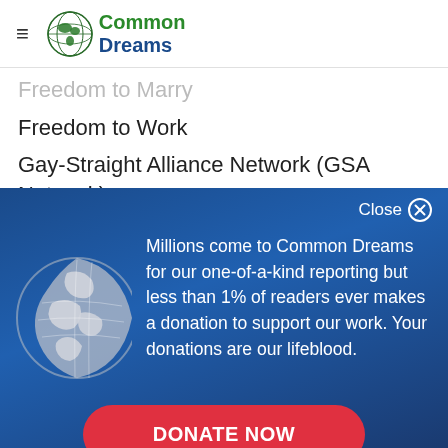Common Dreams
Freedom to Marry
Freedom to Work
Gay-Straight Alliance Network (GSA Network)
GLAAD
Close
Millions come to Common Dreams for our one-of-a-kind reporting but less than 1% of readers ever makes a donation to support our work. Your donations are our lifeblood.
DONATE NOW